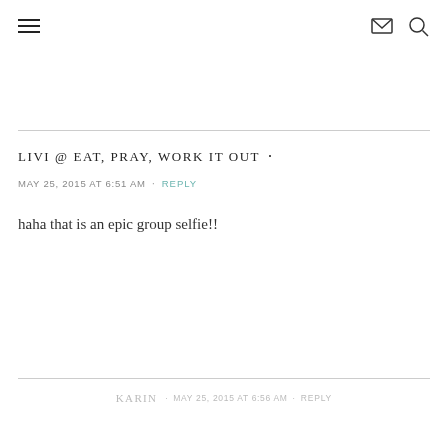Navigation header with hamburger menu, email icon, and search icon
LIVI @ EAT, PRAY, WORK IT OUT
MAY 25, 2015 AT 6:51 AM • REPLY
haha that is an epic group selfie!!
KARIN • MAY 25, 2015 AT 6:56 AM • REPLY